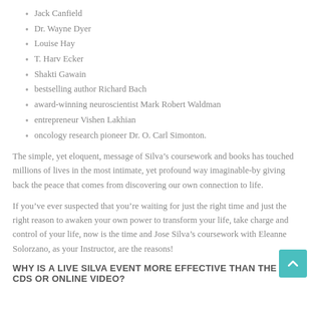Jack Canfield
Dr. Wayne Dyer
Louise Hay
T. Harv Ecker
Shakti Gawain
bestselling author Richard Bach
award-winning neuroscientist Mark Robert Waldman
entrepreneur Vishen Lakhian
oncology research pioneer Dr. O. Carl Simonton.
The simple, yet eloquent, message of Silva’s coursework and books has touched millions of lives in the most intimate, yet profound way imaginable-by giving back the peace that comes from discovering our own connection to life.
If you’ve ever suspected that you’re waiting for just the right time and just the right reason to awaken your own power to transform your life, take charge and control of your life, now is the time and Jose Silva’s coursework with Eleanne Solorzano, as your Instructor, are the reasons!
WHY IS A LIVE SILVA EVENT MORE EFFECTIVE THAN THE CDS OR ONLINE VIDEO?